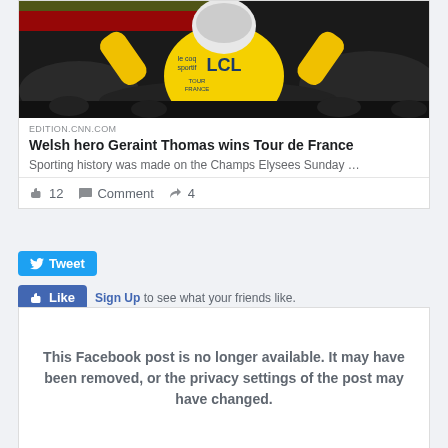[Figure (photo): Cyclist in yellow LCL Tour de France jersey with arms raised in celebration, holding a red and green flag, crowd in background]
EDITION.CNN.COM
Welsh hero Geraint Thomas wins Tour de France
Sporting history was made on the Champs Elysees Sunday …
12   Comment   4
Tweet
Like   Sign Up to see what your friends like.
This Facebook post is no longer available. It may have been removed, or the privacy settings of the post may have changed.